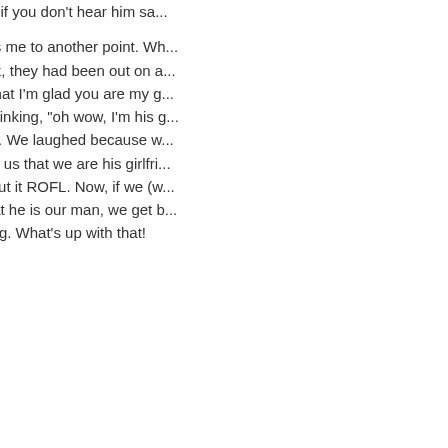our talk is, if you don't hear him say...
This brings me to another point. When her now ex, they had been out on a... casually, that I'm glad you are my g... she was thinking, "oh wow, I'm his g... up about it. We laughed because w... will just tell us that we are his girlfri... happy about it ROFL. Now, if we (w... tell him that he is our man, we get b... overbearing. What's up with that!
reply
[Figure (illustration): Grey avatar/profile placeholder icon showing a silhouette of a person]
I read
this blog in its entirety; I always do. good friends would do. Or even as lead to marriage (even if this list ex he was not for marriage so I didn't e he pops up with it. Number 2 – ope about our dreams and futures. In o his future plans. I thought they were would. We never talked about OUR confusion when he did bring up ma what he was saying was very confu conversation numerous time. It bec